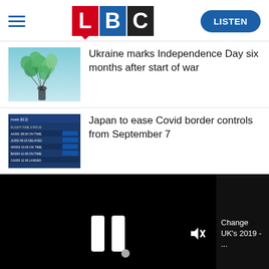[Figure (logo): LBC radio logo with L in red, B in blue, C in black]
[Figure (photo): Person holding green metallic balloons against a blue-grey sky]
Ukraine marks Independence Day six months after start of war
[Figure (screenshot): Airport arrivals/departures board showing Japanese text and flight information]
Japan to ease Covid border controls from September 7
[Figure (screenshot): Black video player with pause icon, mute button and sidebar showing 'Change UK's 2019 - ...']